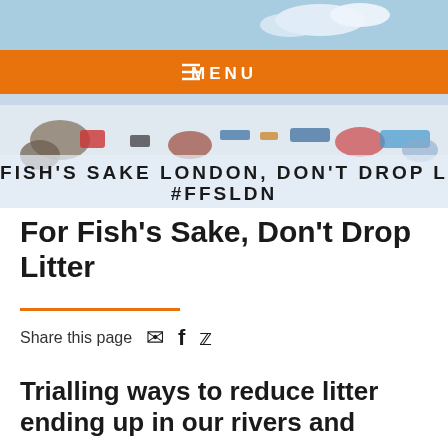[Figure (photo): Hero image showing fish-related litter campaign materials spread on a surface, with campaign text overlay reading 'FOR FISH'S SAKE LONDON, DON'T DROP L... #FFSLDN'. An orange navigation menu bar with 'MENU' text is overlaid on the top portion of the image.]
For Fish's Sake, Don't Drop Litter
Share this page
Trialling ways to reduce litter ending up in our rivers and